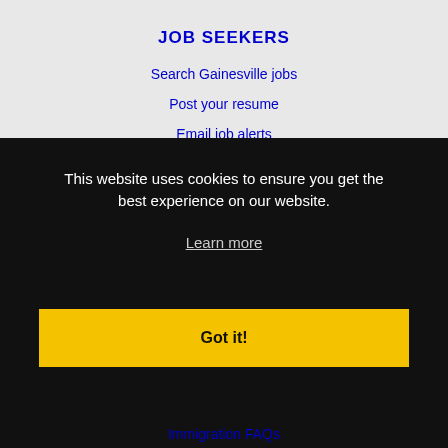JOB SEEKERS
Search Gainesville jobs
Post your resume
Email job alerts
Register / Log in
EMPLOYERS
Post jobs
This website uses cookies to ensure you get the best experience on our website.
Learn more
Got it!
Immigration FAQs